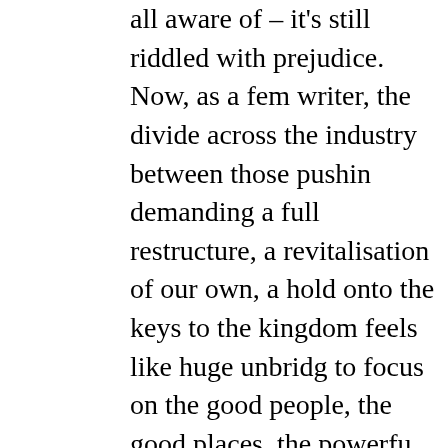all aware of – it's still riddled with prejudice. Now, as a female writer, the divide across the industry between those pushing demanding a full restructure, a revitalisation of our own, and hold onto the keys to the kingdom feels like huge unbridgeable to focus on the good people, the good places, the powerful make everyone welcome. I can nestle into a space, both p where my voice is wanted and heard, where my interest a undermined and where I'm valued as a legitimate part of the enormity of the industry space where that just isn't the case astonishing – the bigotry, hate, aggression and really the s continues to appear on online beer forums, brewery statements and advertising campaigns is enough to make any non wh from the industry as a whole, never mind taking on a publi as though the ongoing pitched-battle for the heart and sou taking place across our social and political landscape is be miniature in our own beery backyard. We have to be prepa back, to get into it even if we're people who don't like conf draining, depressing, potentially pointless. Because if we do British South Asian living and writing in America, I have a h home in that I am so unusual as to be removed from the fr the bigoted hate and ire out there – unless, that is, I delibe